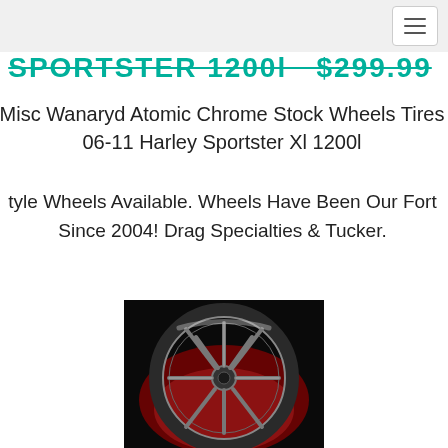Navigation bar with hamburger menu button
SPORTSTER 1200l $299.99
Misc Wanaryd Atomic Chrome Stock Wheels Tires 06-11 Harley Sportster Xl 1200l
tyle Wheels Available. Wheels Have Been Our Fort Since 2004! Drag Specialties & Tucker.
[Figure (photo): Chrome motorcycle wheel (Wanaryd Atomic style) photographed against a red fabric background in a dark setting. The wheel has multiple curved spokes radiating from a central hub.]